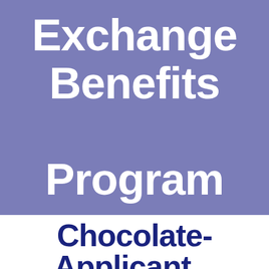Exchange Benefits Program
Chocolate- Applicant...